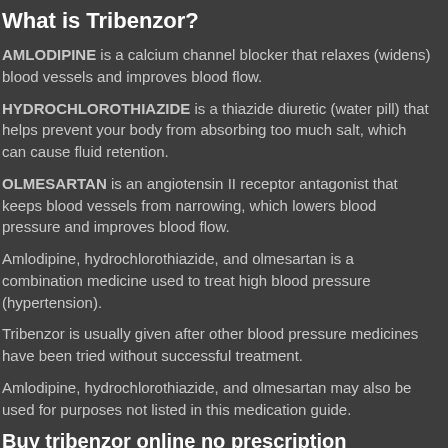What is Tribenzor?
AMLODIPINE is a calcium channel blocker that relaxes (widens) blood vessels and improves blood flow.
HYDROCHLOROTHIAZIDE is a thiazide diuretic (water pill) that helps prevent your body from absorbing too much salt, which can cause fluid retention.
OLMESARTAN is an angiotensin II receptor antagonist that keeps blood vessels from narrowing, which lowers blood pressure and improves blood flow.
Amlodipine, hydrochlorothiazide, and olmesartan is a combination medicine used to treat high blood pressure (hypertension).
Tribenzor is usually given after other blood pressure medicines have been tried without successful treatment.
Amlodipine, hydrochlorothiazide, and olmesartan may also be used for purposes not listed in this medication guide.
Buy tribenzor online no prescription